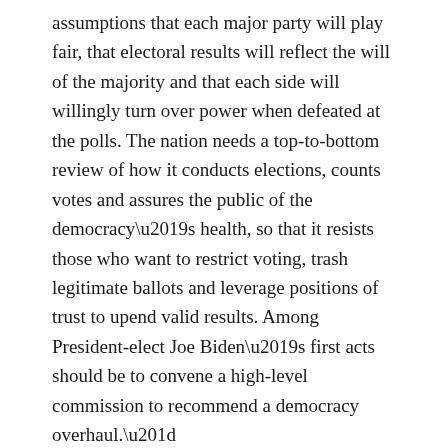assumptions that each major party will play fair, that electoral results will reflect the will of the majority and that each side will willingly turn over power when defeated at the polls. The nation needs a top-to-bottom review of how it conducts elections, counts votes and assures the public of the democracy’s health, so that it resists those who want to restrict voting, trash legitimate ballots and leverage positions of trust to upend valid results. Among President-elect Joe Biden’s first acts should be to convene a high-level commission to recommend a democracy overhaul.”
“The review must be wide-ranging, beginning with the electoral college itself. The commission should examine ways to reduce the chance that a candidate can win the presidency without winning a majority of popular votes, or for a tied electoral college vote to be decided by the House. Maybe the cleanest way is simply to abolish the electoral college in favor of a straight national popular